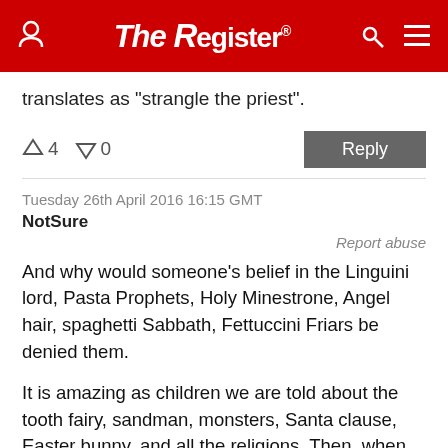The Register
translates as "strangle the priest".
↑4  ↓0   Reply
Tuesday 26th April 2016 16:15 GMT
NotSure
Report abuse
And why would someone's belief in the Linguini lord, Pasta Prophets, Holy Minestrone, Angel hair, spaghetti Sabbath, Fettuccini Friars be denied them.

It is amazing as children we are told about the tooth fairy, sandman, monsters, Santa clause, Easter bunny, and all the religions. Then, when we are "Old enough" to understand we are told that they are all make believe, except of course for the religion...that of course is less preposterous than the others, and is real...

How old must we be, and who will tell us, when we are